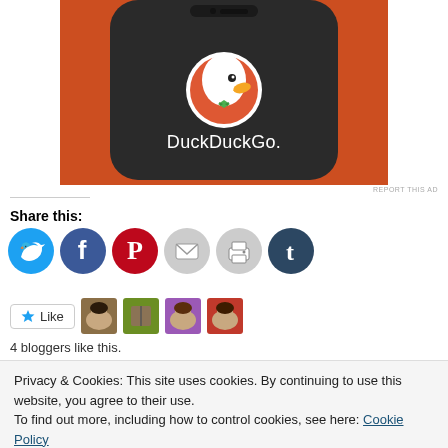[Figure (screenshot): DuckDuckGo app icon displayed on a smartphone screen with an orange background. White DuckDuckGo duck logo in an orange circle, with 'DuckDuckGo.' text below in white on a dark phone screen.]
REPORT THIS AD
Share this:
[Figure (infographic): Row of six social share icon buttons: Twitter (blue), Facebook (blue), Pinterest (red), Email (light gray), Print (light gray), Tumblr (dark navy).]
[Figure (infographic): Like button with star icon, followed by four small blogger avatar thumbnail images.]
4 bloggers like this.
Privacy & Cookies: This site uses cookies. By continuing to use this website, you agree to their use.
To find out more, including how to control cookies, see here: Cookie Policy
Close and accept